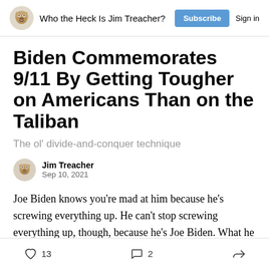Who the Heck Is Jim Treacher? | Subscribe | Sign in
Biden Commemorates 9/11 By Getting Tougher on Americans Than on the Taliban
The ol' divide-and-conquer technique
Jim Treacher
Sep 10, 2021
Joe Biden knows you're mad at him because he's screwing everything up. He can't stop screwing everything up, though, because he's Joe Biden. What he
13 likes  2 comments  share